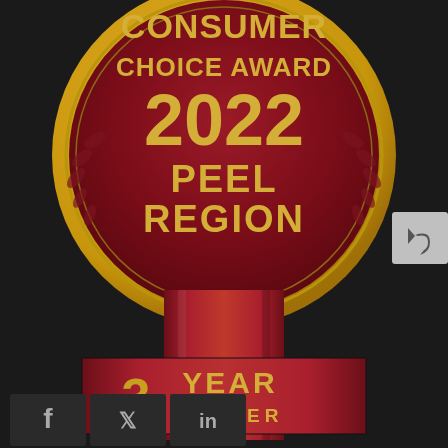[Figure (illustration): Consumer Choice Award 2022 medal for Peel Region, showing a gold circular medallion on a dark red background with laurel wreath decoration, text reading CONSUMER CHOICE AWARD 2022 PEEL REGION in gold letters. Below the medal hangs a red ribbon with a chevron notch and a banner reading 3 YEAR WINNER in gold text. A grey reply/share button appears at top right. Social media icons (Facebook, Twitter, LinkedIn) appear at bottom left.]